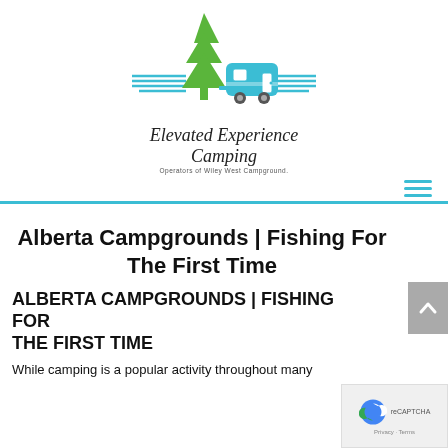[Figure (logo): Elevated Experience Camping logo with green pine tree and blue camping trailer, horizontal lines on sides]
Elevated Experience Camping
Operators of Wiley West Campground.
Alberta Campgrounds | Fishing For The First Time
ALBERTA CAMPGROUNDS | FISHING FOR THE FIRST TIME
While camping is a popular activity throughout many